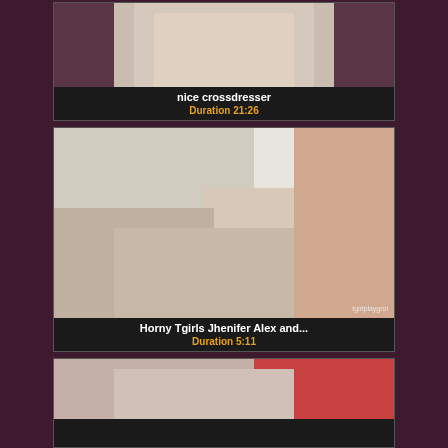[Figure (photo): Video thumbnail showing a person in a kitchen setting]
nice crossdresser
Duration 21:26
[Figure (photo): Video thumbnail showing multiple people, watermark tgirlplayground visible]
Horny Tgirls Jhenifer Alex and...
Duration 5:11
[Figure (photo): Partial video thumbnail at bottom of page]